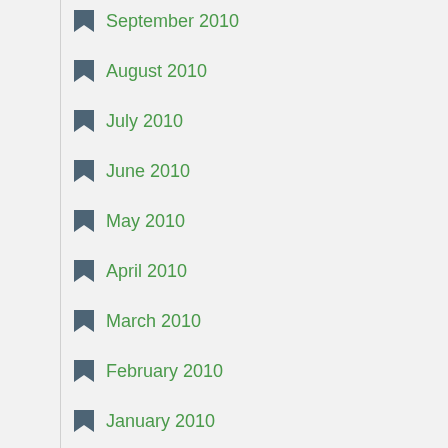September 2010
August 2010
July 2010
June 2010
May 2010
April 2010
March 2010
February 2010
January 2010